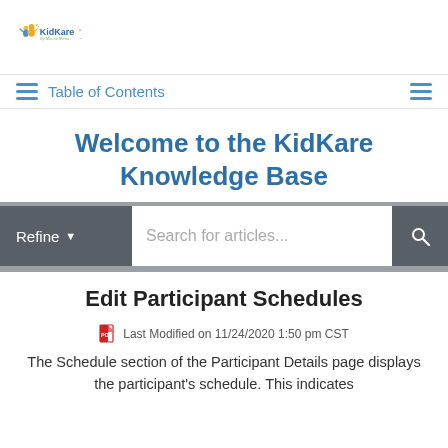[Figure (logo): KidKare by Minute Menu logo with cartoon figures]
Table of Contents
Welcome to the KidKare Knowledge Base
[Figure (screenshot): Search bar with Refine dropdown and search field reading 'Search for articles...']
Edit Participant Schedules
Last Modified on 11/24/2020 1:50 pm CST
The Schedule section of the Participant Details page displays the participant's schedule. This indicates